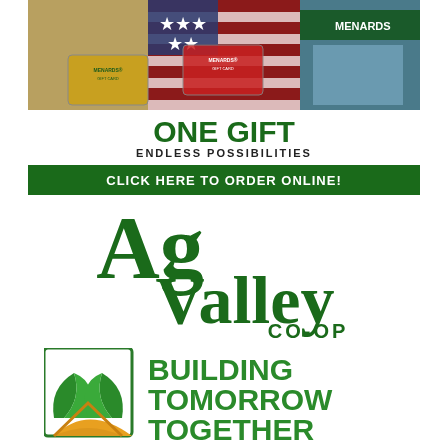[Figure (infographic): Menards gift card advertisement showing gift cards, American flag, and Menards store exterior. White box with green text 'ONE GIFT' large, 'ENDLESS POSSIBILITIES' below, green banner with white text 'CLICK HERE TO ORDER ONLINE!']
[Figure (logo): Ag Valley CO-OP logo in dark green serif/sans font with stacked text reading 'Ag Valley CO-OP']
[Figure (logo): Ag Valley Co-op 'Building Tomorrow Together' logo with green/gold plant icon and green bold text reading 'BUILDING TOMORROW TOGETHER']